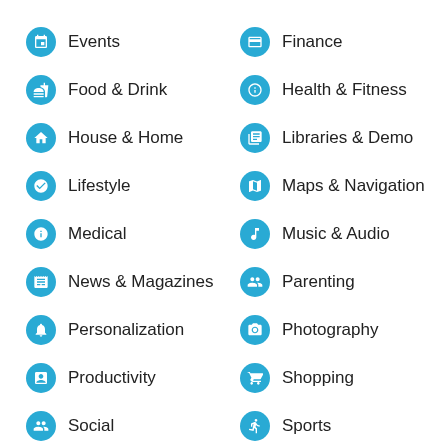Events
Finance
Food & Drink
Health & Fitness
House & Home
Libraries & Demo
Lifestyle
Maps & Navigation
Medical
Music & Audio
News & Magazines
Parenting
Personalization
Photography
Productivity
Shopping
Social
Sports
Tools
Travel & Local